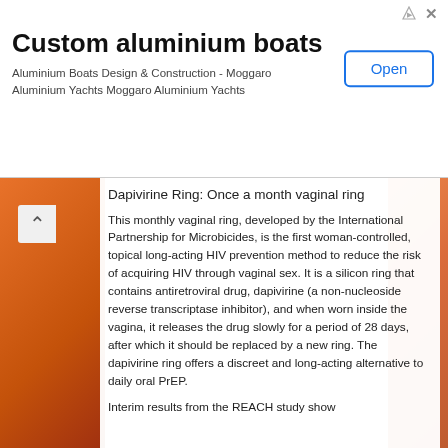[Figure (screenshot): Advertisement banner for 'Custom aluminium boats' by Moggaro Aluminium Yachts with an Open button]
Dapivirine Ring: Once a month vaginal ring
This monthly vaginal ring, developed by the International Partnership for Microbicides, is the first woman-controlled, topical long-acting HIV prevention method to reduce the risk of acquiring HIV through vaginal sex. It is a silicon ring that contains antiretroviral drug, dapivirine (a non-nucleoside reverse transcriptase inhibitor), and when worn inside the vagina, it releases the drug slowly for a period of 28 days, after which it should be replaced by a new ring. The dapivirine ring offers a discreet and long-acting alternative to daily oral PrEP.
Interim results from the REACH study show